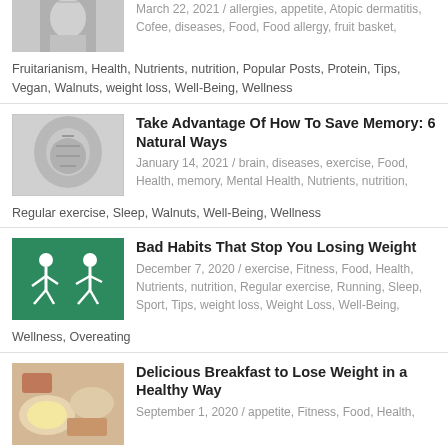[Figure (photo): Partial thumbnail of woman touching face, black and white]
March 22, 2021 / allergies, appetite, Atopic dermatitis, Cofee, diseases, Food, Food allergy, fruit basket, Fruitarianism, Health, Nutrients, nutrition, Popular Posts, Protein, Tips, Vegan, Walnuts, weight loss, Well-Being, Wellness
[Figure (photo): Black and white photo of human head silhouette with brain visible]
Take Advantage Of How To Save Memory: 6 Natural Ways
January 14, 2021 / brain, diseases, exercise, Food, Health, memory, Mental Health, Nutrients, nutrition, Regular exercise, Sleep, Walnuts, Well-Being, Wellness
[Figure (illustration): Green background with white silhouettes of people exercising/running]
Bad Habits That Stop You Losing Weight
December 7, 2020 / exercise, Fitness, Food, Health, Nutrients, nutrition, Regular exercise, Running, Sleep, Sport, Tips, weight loss, Weight Loss, Well-Being, Wellness, Overeating
[Figure (photo): Colorful breakfast foods including eggs and fruit on plates]
Delicious Breakfast to Lose Weight in a Healthy Way
September 1, 2020 / appetite, Fitness, Food, Health,